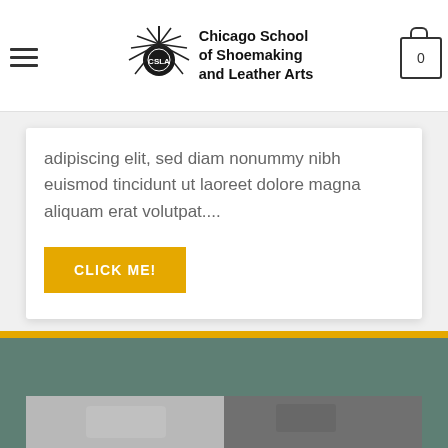Chicago School of Shoemaking and Leather Arts
adipiscing elit, sed diam nonummy nibh euismod tincidunt ut laoreet dolore magna aliquam erat volutpat....
CLICK ME!
[Figure (photo): Teal/green footer band with a partial black-and-white photo strip at bottom showing hands working with leather]